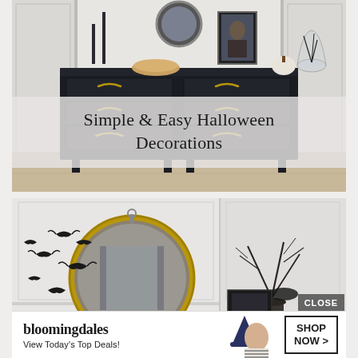[Figure (photo): A dark navy/black dresser with gold cup drawer pulls, styled with Halloween decorations: candles, a bowl, a framed portrait, a white pumpkin, and a glass cloche. Room has white wainscoting walls and light wood floors.]
Simple & Easy Halloween Decorations
[Figure (photo): A room decorated for Halloween with a large round gold-framed mirror on a white wainscoted wall, black paper bats flying across the wall, and dark bare branches in a vase on the right side.]
[Figure (screenshot): Bloomingdale's advertisement banner: logo, 'View Today's Top Deals!' tagline, a woman in a witch hat, and a 'SHOP NOW >' button. Also shows a 'CLOSE' button overlay.]